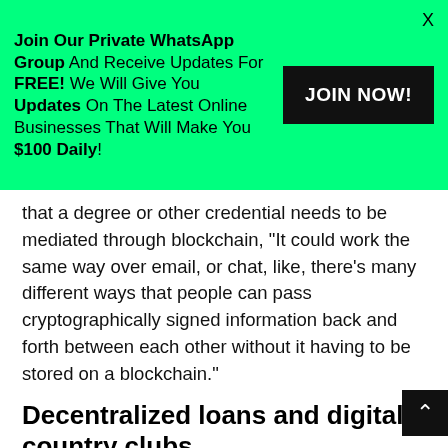Join Our Private WhatsApp Group And Receive Updates For FREE! We Will Give You Updates On The Latest Online Businesses That Will Make You $100 Daily!
JOIN NOW!
X
that a degree or other credential needs to be mediated through blockchain, “It could work the same way over email, or chat, like, there’s many different ways that people can pass cryptographically signed information back and forth between each other without it having to be stored on a blockchain.”
Decentralized loans and digital country clubs
Buterin told Bankless recently that blockchains are indeed useful in this situation. He said they provide account management and keep track of